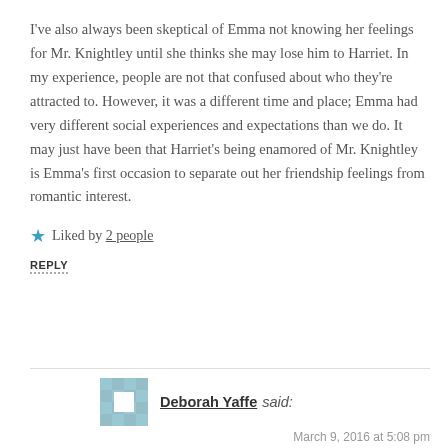I've also always been skeptical of Emma not knowing her feelings for Mr. Knightley until she thinks she may lose him to Harriet. In my experience, people are not that confused about who they're attracted to. However, it was a different time and place; Emma had very different social experiences and expectations than we do. It may just have been that Harriet's being enamored of Mr. Knightley is Emma's first occasion to separate out her friendship feelings from romantic interest.
★ Liked by 2 people
REPLY
Deborah Yaffe said:
March 9, 2016 at 5:08 pm
The reason they don't notice that they're in love with each other is because they each take the other for granted. S/he has always been there, nothing's going to change, they can trust each other…